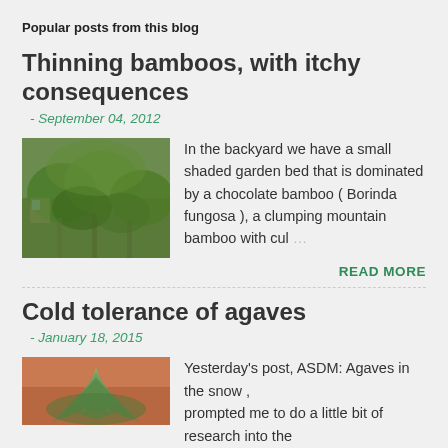Popular posts from this blog
Thinning bamboos, with itchy consequences
- September 04, 2012
[Figure (photo): Photo of bamboo plants in a shaded garden bed]
In the backyard we have a small shaded garden bed that is dominated by a chocolate bamboo ( Borinda fungosa ), a clumping mountain bamboo with cul …
READ MORE
Cold tolerance of agaves
- January 18, 2015
[Figure (photo): Photo of agave plants with orange/terracotta wall background]
Yesterday's post, ASDM: Agaves in the snow , prompted me to do a little bit of research into the